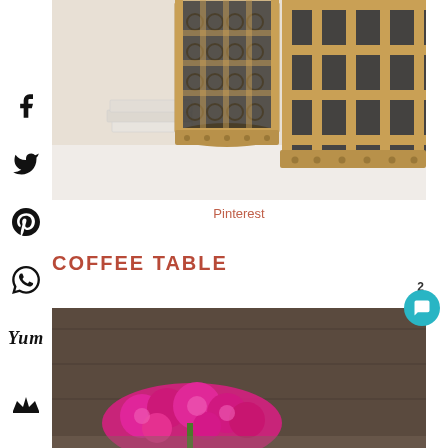[Figure (photo): Decorative gold metal drum-shaped side tables with Moroccan lattice pattern, stacked white books on white surface]
Pinterest
COFFEE TABLE
[Figure (photo): Coffee table styled with bright pink/fuchsia floral arrangement on a dark surface, partial view]